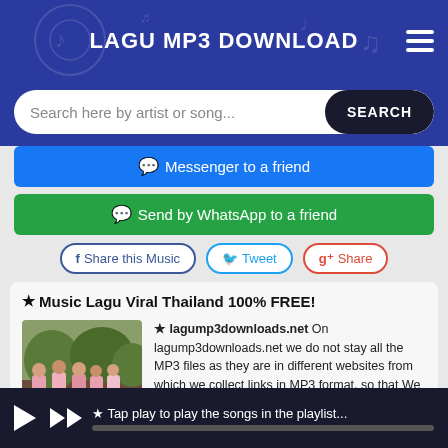LAGU MP3 DOWNLOAD
Search here by artist or song...
Messenger to a friend
Send by WhatsApp to a friend
f Share this Music   Tweet   g+ Share
★ Music Lagu Viral Thailand 100% FREE!
★ lagump3downloads.net On lagump3downloads.net we do not stay all the MP3 files as they are in different websites from which we collect links in MP3 format, so that We do not violate any copyright.. If you have a link to your intellectual property, let us know by sending an email with the link to my contact page proceed to remove it from our site.
★ Tap play to play the songs in the playlist...